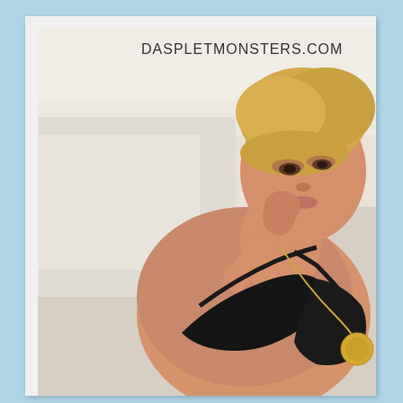[Figure (photo): A blonde woman wearing a black bikini top and a gold circular pendant necklace, posing at what appears to be a beach or outdoor location with a blurred light background. She has her hand raised near her chin and is looking slightly upward. A watermark reading DASPLETMONSTERS.COM appears in the upper right of the photo.]